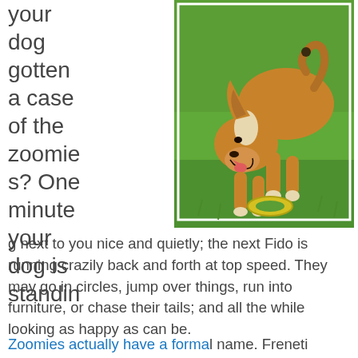your dog gotten a case of the zoomies? One minute your dog is standing
[Figure (photo): A tan and white dog biting its own tail/back while standing on green grass with a yellow ring toy on the ground, enclosed in a white border frame.]
g next to you nice and quietly; the next Fido is running crazily back and forth at top speed. They may go in circles, jump over things, run into furniture, or chase their tails; and all the while looking as happy as can be.
Zoomies actually have a formal name. Frenetic...